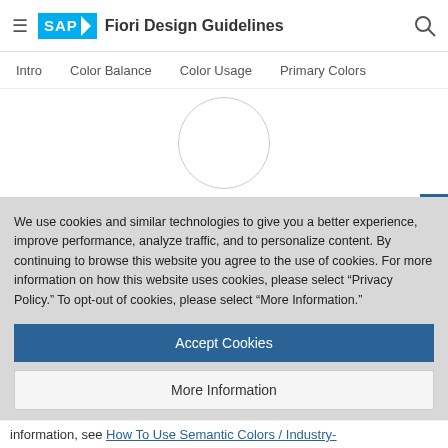SAP Fiori Design Guidelines
Intro | Color Balance | Color Usage | Primary Colors
[Figure (other): Loading spinner circle placeholder in white content area]
We use cookies and similar technologies to give you a better experience, improve performance, analyze traffic, and to personalize content. By continuing to browse this website you agree to the use of cookies. For more information on how this website uses cookies, please select “Privacy Policy.” To opt-out of cookies, please select “More Information.”
Accept Cookies
More Information
Privacy Policy | Powered by: TrustArc
information, see How To Use Semantic Colors / Industry-